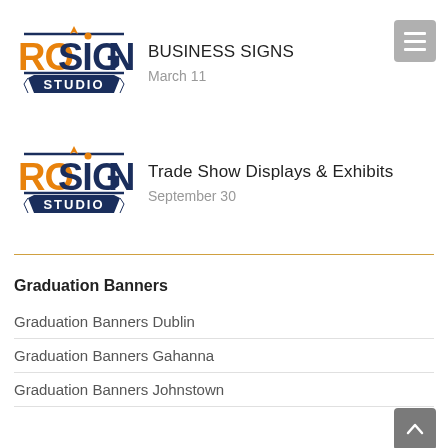[Figure (logo): ProSign Studio logo — orange and navy lettering with STUDIO badge, first instance]
BUSINESS SIGNS
March 11
[Figure (logo): ProSign Studio logo — orange and navy lettering with STUDIO badge, second instance]
Trade Show Displays & Exhibits
September 30
Graduation Banners
Graduation Banners Dublin
Graduation Banners Gahanna
Graduation Banners Johnstown